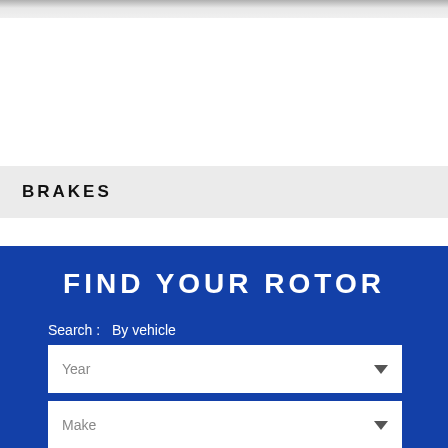BRAKES
FIND YOUR ROTOR
Search :  By vehicle
Year
Make